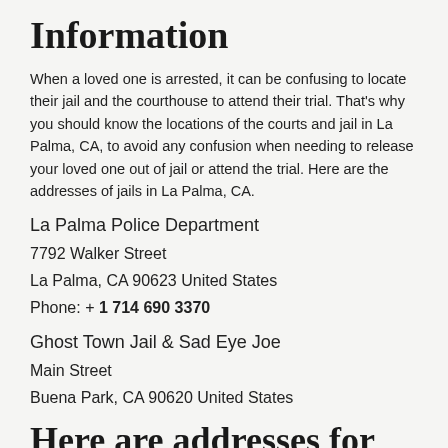Information
When a loved one is arrested, it can be confusing to locate their jail and the courthouse to attend their trial. That's why you should know the locations of the courts and jail in La Palma, CA, to avoid any confusion when needing to release your loved one out of jail or attend the trial. Here are the addresses of jails in La Palma, CA.
La Palma Police Department
7792 Walker Street
La Palma, CA 90623 United States
Phone: + 1 714 690 3370
Ghost Town Jail & Sad Eye Joe
Main Street
Buena Park, CA 90620 United States
Here are addresses for courthouses in La Palma, CA